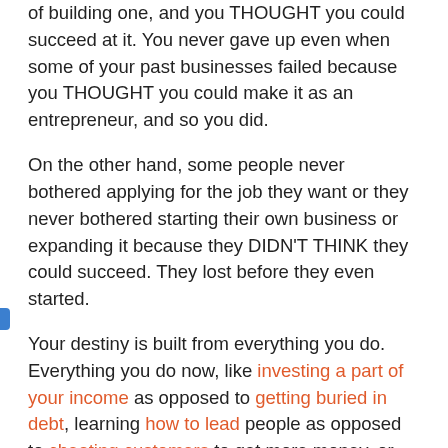of building one, and you THOUGHT you could succeed at it. You never gave up even when some of your past businesses failed because you THOUGHT you could make it as an entrepreneur, and so you did.
On the other hand, some people never bothered applying for the job they want or they never bothered starting their own business or expanding it because they DIDN'T THINK they could succeed. They lost before they even started.
Your destiny is built from everything you do. Everything you do now, like investing a part of your income as opposed to getting buried in debt, learning how to lead people as opposed to cheating customers to get more money, or doing your best to advance your career as opposed to sticking to a safe yet low quality job you hate, will certainly affect your future. As the decisions you